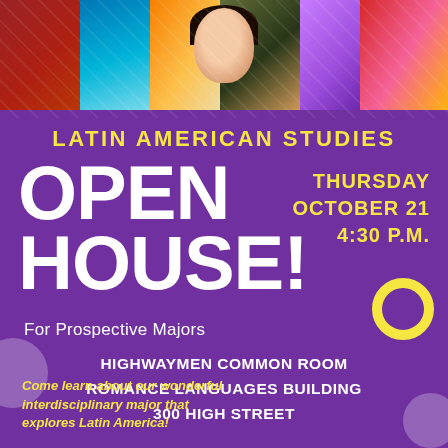[Figure (illustration): Colorful folk art image featuring a stylized figure/face in the center surrounded by vibrant geometric patterns in reds, blues, oranges, greens, purples — reminiscent of Latin American textile art]
LATIN AMERICAN STUDIES
OPEN HOUSE!
THURSDAY OCTOBER 21 4:30 P.M.
For Prospective Majors
HIGHWAYMEN COMMON ROOM ROMANCE LANGUAGES BUILDING 300 HIGH STREET
Come learn about our wonderful interdisciplinary major that explores Latin America!